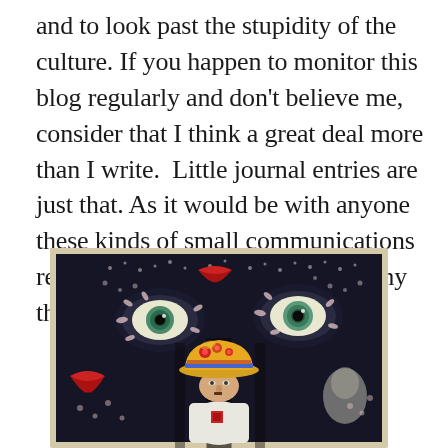and to look past the stupidity of the culture. If you happen to monitor this blog regularly and don't believe me, consider that I think a great deal more than I write.  Little journal entries are just that. As it would be with anyone these kinds of small communications represent a very small portion of my thoughts and life and outlook.
[Figure (illustration): A colorful surrealist painting showing a figure wearing a yellow and orange bowler hat decorated with flowers, with large stylized eyes visible in the dark background, and red lips floating nearby. The figure appears to be wearing a white shirt with a small red square emblem. The background is dark with floral patterns.]